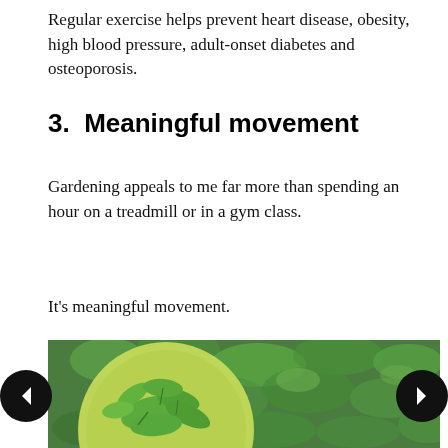Regular exercise helps prevent heart disease, obesity, high blood pressure, adult-onset diabetes and osteoporosis.
3.  Meaningful movement
Gardening appeals to me far more than spending an hour on a treadmill or in a gym class.
It's meaningful movement.
[Figure (photo): A green plate holding fresh green leafy herbs/plants, set against a background of dense green leafy garden plants.]